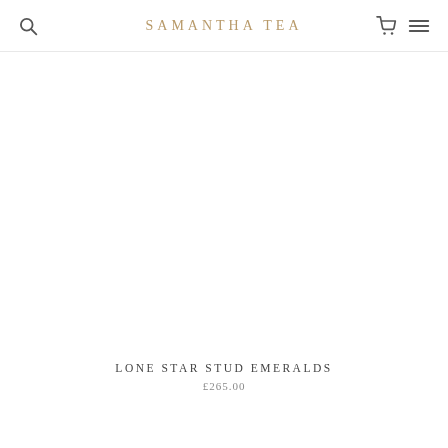SAMANTHA TEA
[Figure (photo): Product image area — white/blank space for Lone Star Stud Emeralds jewellery product photo]
LONE STAR STUD EMERALDS
£265.00